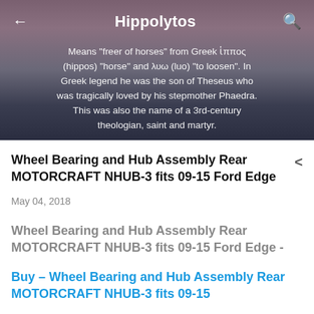[Figure (screenshot): Hero background image of a landscape with mountains and sky at dusk with purple/blue tones]
Hippolytos
Means "freer of horses" from Greek ἵππος (hippos) "horse" and λυω (luo) "to loosen". In Greek legend he was the son of Theseus who was tragically loved by his stepmother Phaedra. This was also the name of a 3rd-century theologian, saint and martyr.
Wheel Bearing and Hub Assembly Rear MOTORCRAFT NHUB-3 fits 09-15 Ford Edge
May 04, 2018
Wheel Bearing and Hub Assembly Rear MOTORCRAFT NHUB-3 fits 09-15 Ford Edge -
Buy – Wheel Bearing and Hub Assembly Rear MOTORCRAFT NHUB-3 fits 09-15